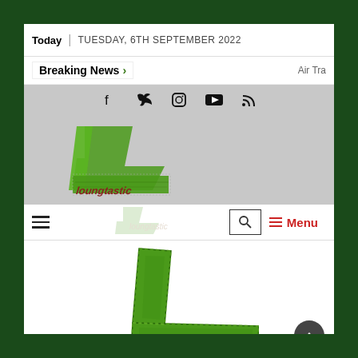Today | TUESDAY, 6TH SEPTEMBER 2022
Breaking News > Air Tra
[Figure (logo): Loungtastic website logo - green stylized L shape with 'loungtastic' text]
[Figure (screenshot): Navigation bar with hamburger menu, faded logo, search icon, and Menu button in red]
[Figure (logo): Large green stylized L logo mark in content area]